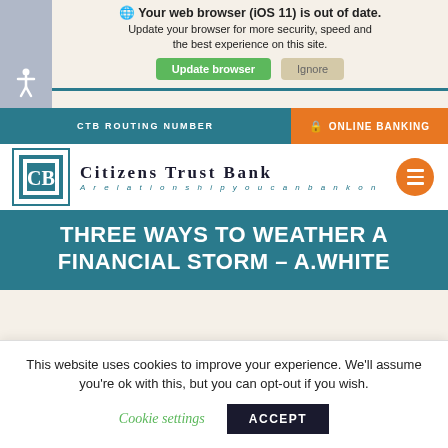[Figure (screenshot): Browser update notification banner with accessibility icon, showing 'Your web browser (iOS 11) is out of date. Update your browser for more security, speed and the best experience on this site.' with 'Update browser' and 'Ignore' buttons]
CTB ROUTING NUMBER | ONLINE BANKING
[Figure (logo): Citizens Trust Bank logo with teal square icon featuring CB monogram and text 'Citizens Trust Bank - A relationship you can bank on', plus orange hamburger menu button]
THREE WAYS TO WEATHER A FINANCIAL STORM – A.WHITE
This website uses cookies to improve your experience. We'll assume you're ok with this, but you can opt-out if you wish.
Cookie settings    ACCEPT